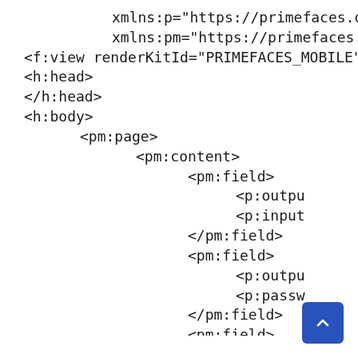xmlns:p="https://primefaces.org/p"
           xmlns:pm="https://primefaces.org."
<f:view renderKitId="PRIMEFACES_MOBILE" .
<h:head>
</h:head>
<h:body>
        <pm:page>
                <pm:content>
                        <pm:field>
                                <p:outpu
                                <p:input
                        </pm:field>
                        <pm:field>
                                <p:outpu
                                <p:passw
                        </pm:field>
                        <pm:field>